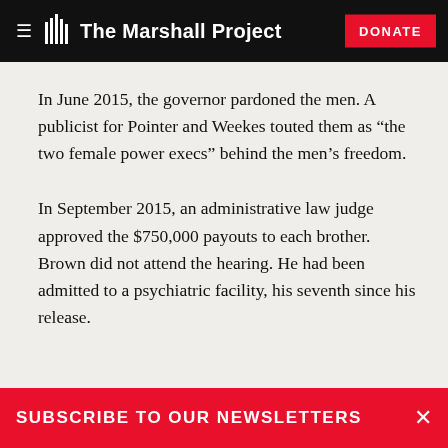The Marshall Project
In June 2015, the governor pardoned the men. A publicist for Pointer and Weekes touted them as “the two female power execs” behind the men’s freedom.
In September 2015, an administrative law judge approved the $750,000 payouts to each brother. Brown did not attend the hearing. He had been admitted to a psychiatric facility, his seventh since his release.
SUBSCRIBE TO OUR NEWSLETTERS